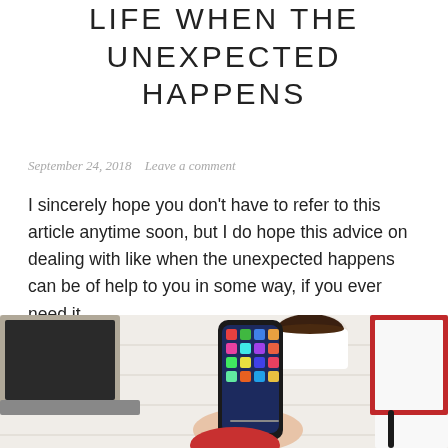LIFE WHEN THE UNEXPECTED HAPPENS
September 24, 2018   Leave a comment
I sincerely hope you don't have to refer to this article anytime soon, but I do hope this advice on dealing with like when the unexpected happens can be of help to you in some way, if you ever need it.
[Figure (photo): A hand holding an iPhone X with app icons visible on the screen, resting on a white wooden desk with a coffee cup, a laptop, a red notebook, and a pen in the background.]